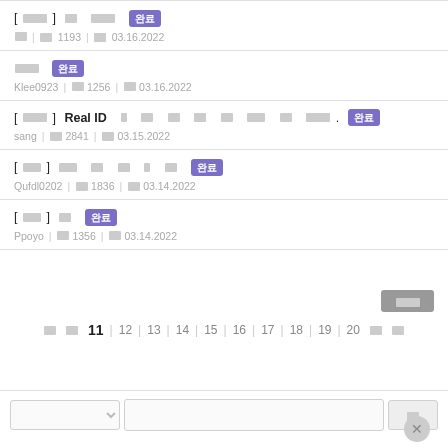[□□□□] □□ □□□□ 완료 □□ | □□ 1193 | □□ 03.16.2022
□□□□ 완료 Klee0923 | □□ 1256 | □□ 03.16.2022
[□□□□] Real ID □ □□ □□ □□ □□□ □□ □□□□□. 완료 sang | □□ 2841 | □□ 03.15.2022
[□□□] □□□ □□ □□ □ □□ 완료 Qufdl0202 | □□ 1836 | □□ 03.14.2022
[□□□] □□ 완료 Ppoyo | □□ 1356 | □□ 03.14.2022
□□□ (write button)
□□ □□ 11 | 12 | 13 | 14 | 15 | 16 | 17 | 18 | 19 | 20 □□ □□
Search area with dropdown, input, and button